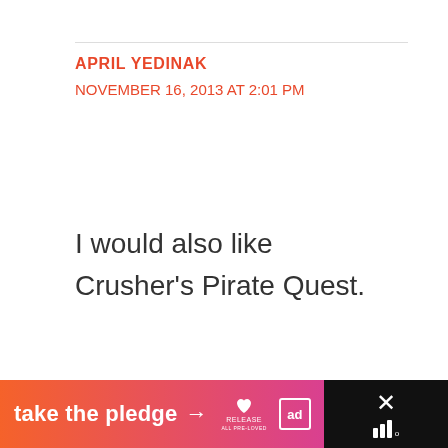APRIL YEDINAK
NOVEMBER 16, 2013 AT 2:01 PM
I would also like Crusher's Pirate Quest.
Reply
[Figure (screenshot): Footer banner with gradient 'take the pledge' text, arrow, RELEASE logo, ad logo, and close button with X and bars icon on dark background]